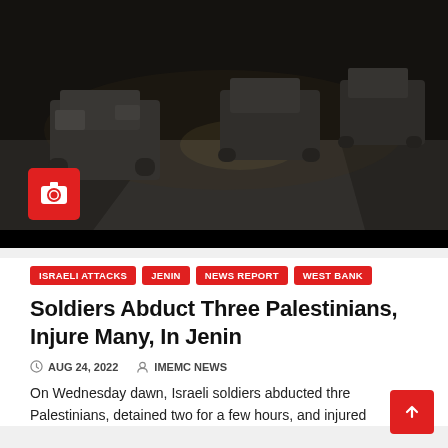[Figure (photo): Nighttime or low-light scene showing military armored vehicles on a road, dark scene with dust or haze]
ISRAELI ATTACKS
JENIN
NEWS REPORT
WEST BANK
Soldiers Abduct Three Palestinians, Injure Many, In Jenin
AUG 24, 2022   IMEMC NEWS
On Wednesday dawn, Israeli soldiers abducted three Palestinians, detained two for a few hours, and injured